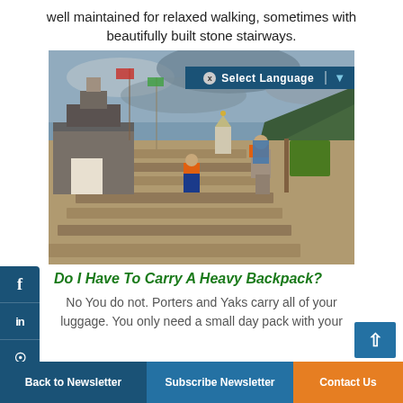well maintained for relaxed walking, sometimes with beautifully built stone stairways.
[Figure (photo): Two trekkers with backpacks climbing stone stairways past a stone stupa/mani wall in the Himalayas, with overcast sky in background. A 'Select Language' overlay appears in the top right corner.]
Do I Have To Carry A Heavy Backpack?
No You do not. Porters and Yaks carry all of your luggage. You only need a small day pack with your